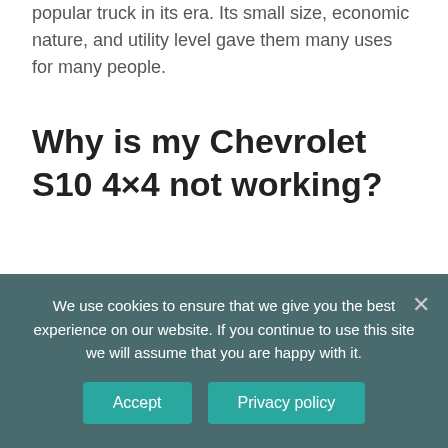popular truck in its era. Its small size, economic nature, and utility level gave them many uses for many people.
Why is my Chevrolet S10 4×4 not working?
(Diagnose and Fix) – YouTube Chevrolet S10 4×4 Not Working? (Diagnose and Fix) If playback doesn't begin shortly, try restarting your device. Videos you watch may be added to the TV's watch history and influence TV
We use cookies to ensure that we give you the best experience on our website. If you continue to use this site we will assume that you are happy with it.